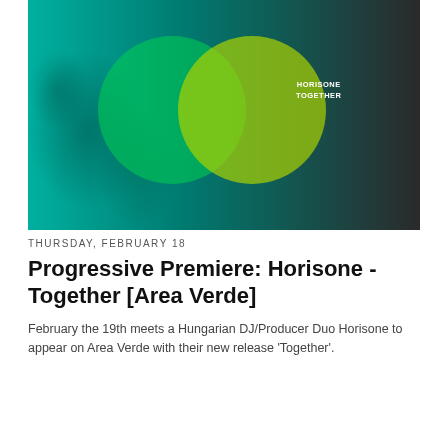[Figure (illustration): Album cover artwork showing two overlapping circles (Venn diagram style) — one semi-transparent green on the left and one semi-transparent yellow-green on the right — overlaid on a dark background photograph of a leaf with water droplets. The right circle contains the text 'HORISONE TOGETHER' in white small caps.]
THURSDAY, FEBRUARY 18
Progressive Premiere: Horisone - Together [Area Verde]
February the 19th meets a Hungarian DJ/Producer Duo Horisone to appear on Area Verde with their new release 'Together'.